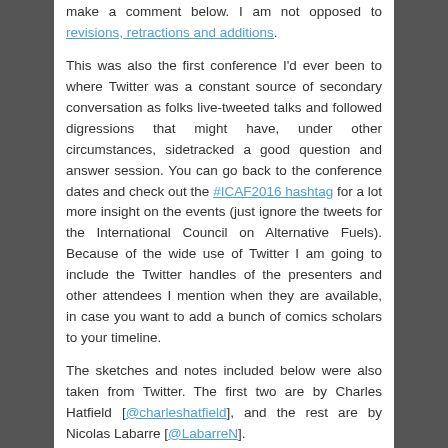make a comment below. I am not opposed to revisions, retractions and additions.
This was also the first conference I'd ever been to where Twitter was a constant source of secondary conversation as folks live-tweeted talks and followed digressions that might have, under other circumstances, sidetracked a good question and answer session. You can go back to the conference dates and check out the #ICAF2016 hashtag for a lot more insight on the events (just ignore the tweets for the International Council on Alternative Fuels). Because of the wide use of Twitter I am going to include the Twitter handles of the presenters and other attendees I mention when they are available, in case you want to add a bunch of comics scholars to your timeline.
The sketches and notes included below were also taken from Twitter. The first two are by Charles Hatfield [@charleshatfield], and the rest are by Nicolas Labarre [@LabarreN].